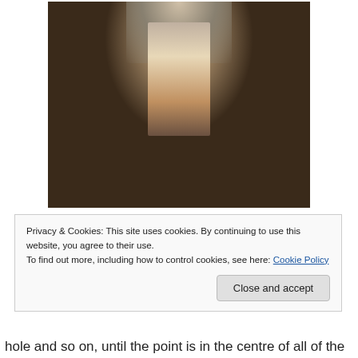[Figure (photo): CNC milling machine cutting an acrylic or aluminum workpiece, showing metal shavings and coolant, with the spindle and cutter visible from above]
Privacy & Cookies: This site uses cookies. By continuing to use this website, you agree to their use.
To find out more, including how to control cookies, see here: Cookie Policy
hole and so on, until the point is in the centre of all of the